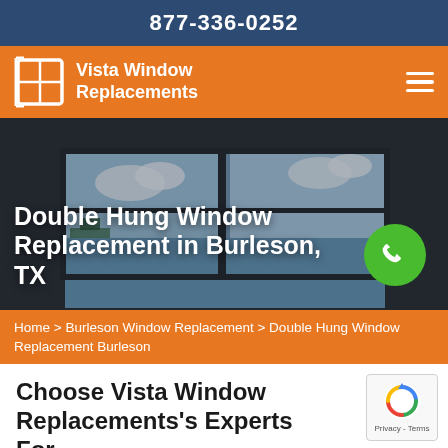877-336-0252
[Figure (logo): Vista Window Replacements logo on orange navigation bar with hamburger menu icon]
[Figure (photo): Interior photo showing large black-framed windows with scenic ocean/sky view, with title 'Double Hung Window Replacement in Burleson, TX' overlaid and green phone button]
Home > Burleson Window Replacement > Double Hung Window Replacement Burleson
Choose Vista Window Replacements's Experts For Double Hung Win...